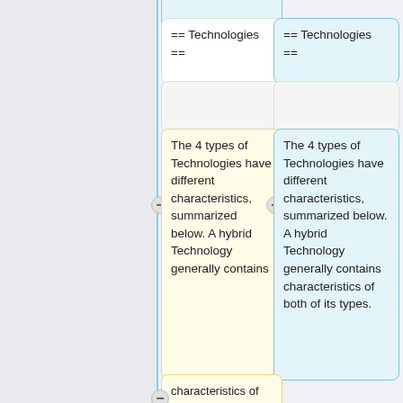[Figure (screenshot): Side-by-side diff view showing two columns of wiki/document content blocks. Left column (white/yellow boxes) and right column (blue boxes). Top boxes show '== Technologies ==' text. Middle large boxes show paragraph text about 4 types of Technologies with different characteristics. Left yellow box is truncated, right blue box has complete text including 'characteristics of both of its types.' Bottom boxes show '* "Scientific (blue)"' text partially visible.]
== Technologies ==
== Technologies ==
The 4 types of Technologies have different characteristics, summarized below. A hybrid Technology generally contains
The 4 types of Technologies have different characteristics, summarized below. A hybrid Technology generally contains characteristics of both of its types.
characteristics of both of its types.
* '''Scientific (blue)''': Or...
* '''Scientific (blue)''': Or...